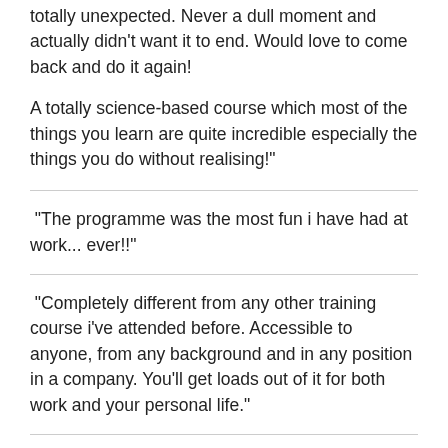totally unexpected. Never a dull moment and actually didn't want it to end. Would love to come back and do it again!
A totally science-based course which most of the things you learn are quite incredible especially the things you do without realising!"
"The programme was the most fun i have had at work... ever!!"
"Completely different from any other training course i've attended before. Accessible to anyone, from any background and in any position in a company. You'll get loads out of it for both work and your personal life."
"One word. "Amazing". This is the best ever training i have